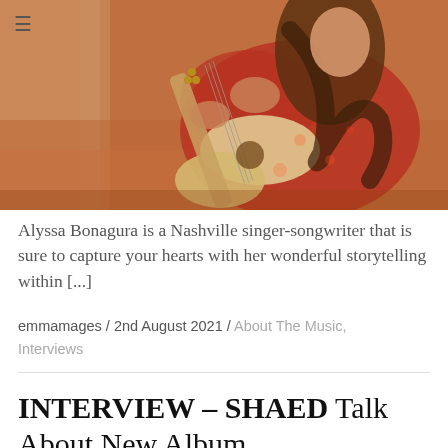[Figure (photo): Woman in a red floral dress sitting on a couch holding an acoustic guitar, with long wavy hair, photographed in warm tones.]
Alyssa Bonagura is a Nashville singer-songwriter that is sure to capture your hearts with her wonderful storytelling within [...]
emmamages / 2nd August 2021 / About The Music, Interviews
INTERVIEW – SHAED Talk About New Album